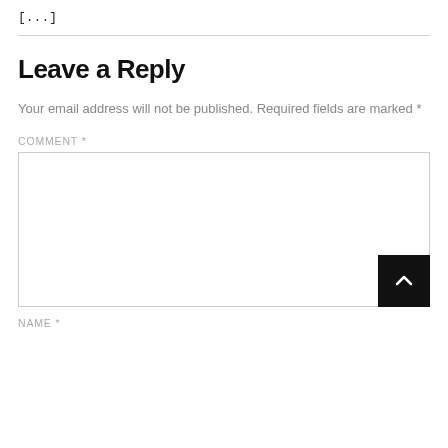[...]
Leave a Reply
Your email address will not be published. Required fields are marked *
COMMENT *
NAME *